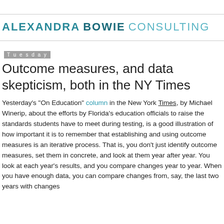ALEXANDRA BOWIE CONSULTING
Tuesday
Outcome measures, and data skepticism, both in the NY Times
Yesterday's "On Education" column in the New York Times, by Michael Winerip, about the efforts by Florida's education officials to raise the standards students have to meet during testing, is a good illustration of how important it is to remember that establishing and using outcome measures is an iterative process. That is, you don't just identify outcome measures, set them in concrete, and look at them year after year. You look at each year's results, and you compare changes year to year. When you have enough data, you can compare changes from, say, the last two years with changes from...